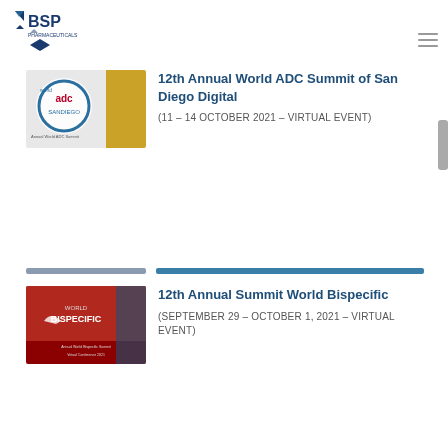[Figure (logo): BSP Pharmaceuticals logo with navy blue arrow/chevron shapes]
[Figure (illustration): 12th Annual World ADC Summit San Diego banner image with gold accent and circular ADC logo]
12th Annual World ADC Summit of San Diego Digital
(11 – 14 OCTOBER 2021 – VIRTUAL EVENT)
[Figure (illustration): World Bispecific summit banner image with red and dark background]
12th Annual Summit World Bispecific
(SEPTEMBER 29 – OCTOBER 1, 2021 – VIRTUAL EVENT)